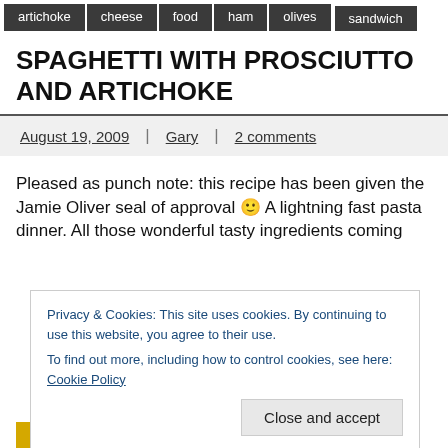artichoke
cheese
food
ham
olives
sandwich
SPAGHETTI WITH PROSCIUTTO AND ARTICHOKE
August 19, 2009 | Gary | 2 comments
Pleased as punch note: this recipe has been given the Jamie Oliver seal of approval 🙂 A lightning fast pasta dinner. All those wonderful tasty ingredients coming
Privacy & Cookies: This site uses cookies. By continuing to use this website, you agree to their use.
To find out more, including how to control cookies, see here: Cookie Policy
Close and accept
READ MORE